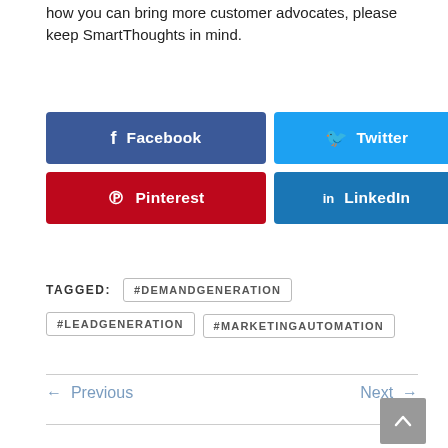how you can bring more customer advocates, please keep SmartThoughts in mind.
[Figure (infographic): Social media share buttons: Facebook (dark blue), Twitter (light blue), Google+ (red), Pinterest (red), LinkedIn (dark blue)]
TAGGED: #DEMANDGENERATION  #LEADGENERATION  #MARKETINGAUTOMATION
← Previous    Next →